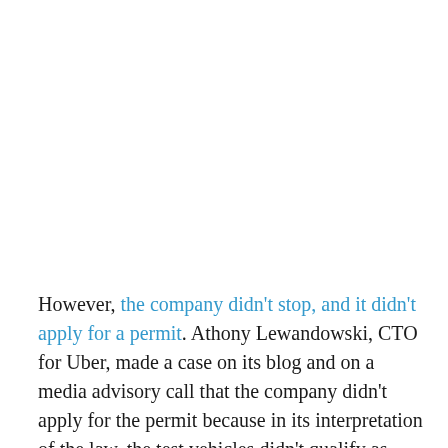However, the company didn't stop, and it didn't apply for a permit. Athony Lewandowski, CTO for Uber, made a case on its blog and on a media advisory call that the company didn't apply for the permit because in its interpretation of the law, the test vehicles didn't qualify as "autonomous vehicles" according to the state's vehicle code since technically the cars required active monitoring by a driver. However, it seems that the DMV and Attorney General's office were able